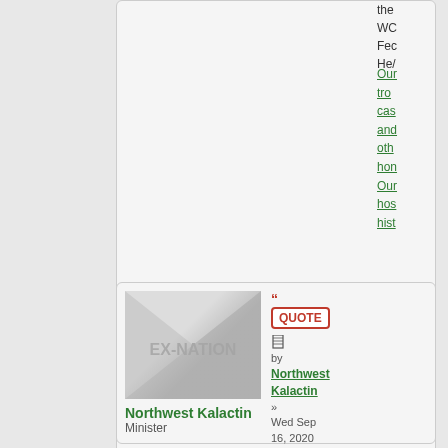the WC Fec He/
Our tro cas and oth hon Our hos hist
[Figure (screenshot): Scroll to top button (circular grey arrow button)]
[Figure (screenshot): QUOTE button with quotation marks, red border]
[Figure (photo): EX-NATION placeholder avatar image with diagonal grey gradient]
by Northwest Kalactin » Wed Sep 16, 2020 2:15 pm
Northwest Kalactin
Minister
Posts: 2088
Founded: Aug 17, 2017
Ex-Nation